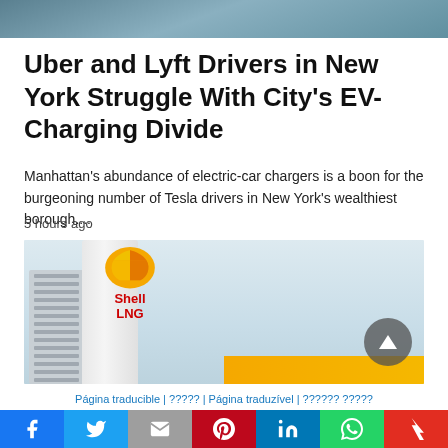[Figure (photo): Partial top of article image - car/EV scene, cropped]
Uber and Lyft Drivers in New York Struggle With City’s EV-Charging Divide
Manhattan's abundance of electric-car chargers is a boon for the burgeoning number of Tesla drivers in New York's wealthiest borough....
5 hours ago
[Figure (photo): Shell LNG station sign with industrial equipment on left and orange Shell branding at bottom]
Página traducible | ????? | Página traduzível | ?????? ?????
Social sharing bar: Facebook, Twitter, Email, Pinterest, LinkedIn, WhatsApp, Flipboard